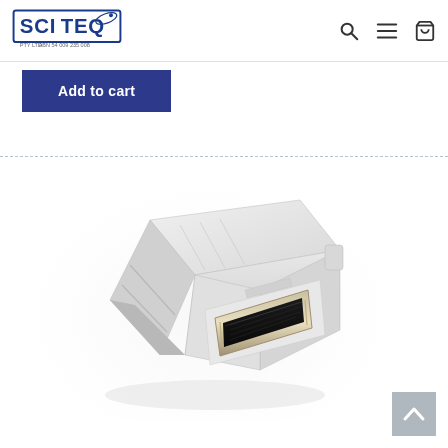SCITEQ PTY LTD ABN 54 009 235 008 - navigation header with search, menu, and cart icons
Add to cart
[Figure (photo): White HDMI female keystone/panel mount connector module, angled perspective view showing the HDMI port opening with metallic finish and white plastic housing with ridged/textured surface]
[Figure (other): Scroll to top button - grey square with upward chevron arrow]